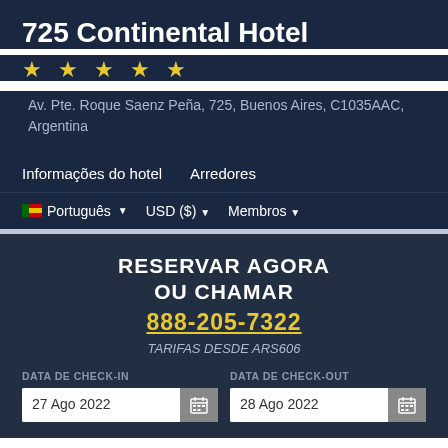725 Continental Hotel
★ ★ ★ ★ ★
Av. Pte. Roque Saenz Peña, 725, Buenos Aires, C1035AAC, Argentina
Informações do hotel
Arredores
Português ▼
USD ($) ▼
Membros ▼
RESERVAR AGORA
OU CHAMAR
888-205-7322
TARIFAS DESDE ARS606
DATA DE CHECK-IN
DATA DE CHECK-OUT
27 Ago 2022
28 Ago 2022